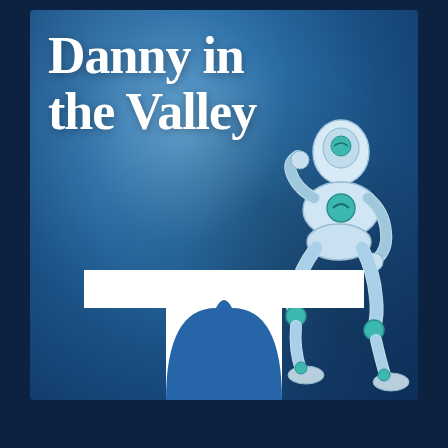[Figure (illustration): Book or podcast cover for 'Danny in the Valley'. Dark blue textured background with a humanoid robot in a contemplative pose (like Rodin's Thinker) sitting on a large white letter T (logo). The title 'Danny in the Valley' appears in large white serif bold font at the top left.]